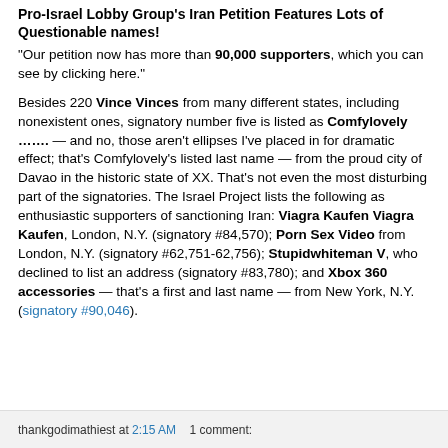Pro-Israel Lobby Group's Iran Petition Features Lots of Questionable names!
"Our petition now has more than 90,000 supporters, which you can see by clicking here."
Besides 220 Vince Vinces from many different states, including nonexistent ones, signatory number five is listed as Comfylovely ....... — and no, those aren't ellipses I've placed in for dramatic effect; that's Comfylovely's listed last name — from the proud city of Davao in the historic state of XX. That's not even the most disturbing part of the signatories. The Israel Project lists the following as enthusiastic supporters of sanctioning Iran: Viagra Kaufen Viagra Kaufen, London, N.Y. (signatory #84,570); Porn Sex Video from London, N.Y. (signatory #62,751-62,756); Stupidwhiteman V, who declined to list an address (signatory #83,780); and Xbox 360 accessories — that's a first and last name — from New York, N.Y. (signatory #90,046).
thankgodimathiest at 2:15 AM   1 comment: